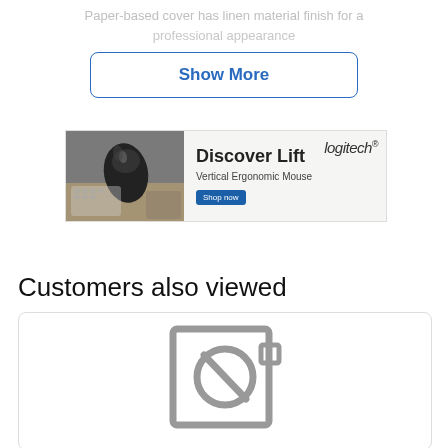Paper-based cover has linen material finish for a professional appearance
Show More
[Figure (photo): Logitech advertisement banner for 'Discover Lift' Vertical Ergonomic Mouse with a photo of the mouse on the left and text on the right]
Customers also viewed
[Figure (other): Product card placeholder with a no-image icon (circle with a diagonal line inside a square frame)]